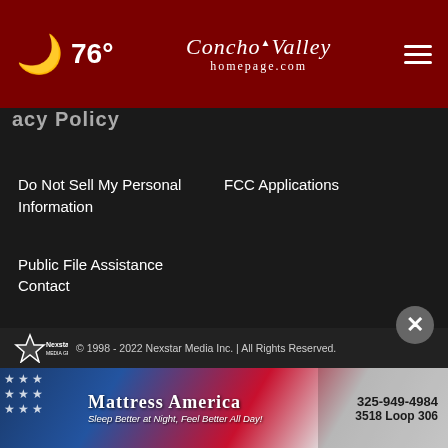76° Concho Valley homepage.com
Do Not Sell My Personal Information
FCC Applications
Public File Assistance Contact
The Hill
NewsNation
BestReviews
Content Licensing
Nexstar Digital
© 1998 - 2022 Nexstar Media Inc. | All Rights Reserved.
[Figure (infographic): Mattress America advertisement banner: 325-949-4984, 3518 Loop 306, Sleep Better at Night, Feel Better All Day!]